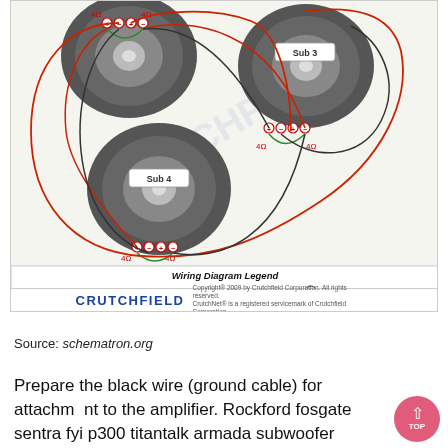[Figure (schematic): Crutchfield wiring diagram showing 4 subwoofers (Sub 3 and Sub 4 labeled) each with dual 4-ohm voice coils connected with positive (red), negative (black), and bridged (green) wires. Each sub shows +/- terminals and 4Ω impedance labels. Includes legend for Positive Wire (red), Negative Wire (black/gray), Bridged Wire (green), Impedance Level in Ohms (Ω), Positive Terminal (+), Negative Terminal (-). Crutchfield logo and copyright notice at bottom.]
Source: schematron.org
Prepare the black wire (ground cable) for attachment to the amplifier. Rockford fosgate sentra fyi p300 titantalk armada subwoofer diagrams showy dvc